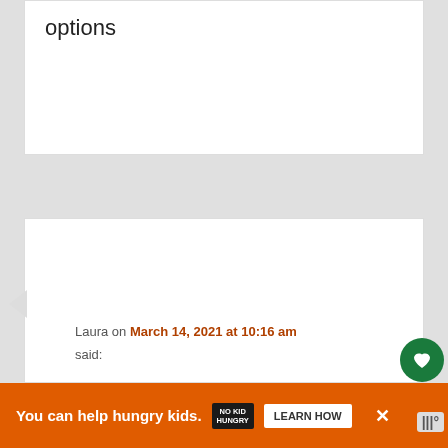options
Laura on March 14, 2021 at 10:16 am said:
Bonnie – We have no affiliation with the Monopoly game. However, you may want to remove the app and install it again. It is pretty easy to use when working. It just asks you if you want to play the game and then there are
[Figure (screenshot): Orange advertisement banner at bottom reading 'You can help hungry kids.' with No Kid Hungry logo and Learn How button, with close X button]
You can help hungry kids.  NO KID HUNGRY  LEARN HOW